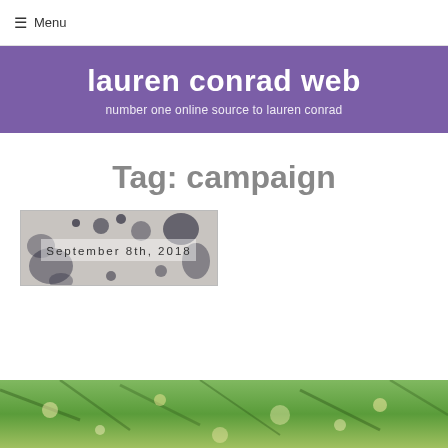☰ Menu
lauren conrad web
number one online source to lauren conrad
Tag: campaign
[Figure (photo): Thumbnail image with text overlay reading 'September 8th, 2018' over a dark watercolor/ink pattern background]
[Figure (photo): Partial bottom image showing green foliage/branches with bokeh lights]